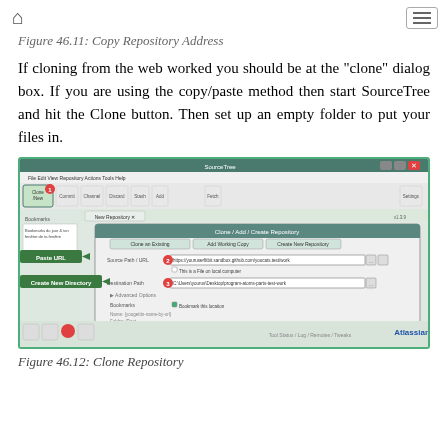Figure 46.11: Copy Repository Address
If cloning from the web worked you should be at the “clone” dialog box. If you are using the copy/paste method then start SourceTree and hit the Clone button. Then set up an empty folder to put your files in.
[Figure (screenshot): SourceTree application window showing the Clone / Add / Create Repository dialog with numbered callouts: 1) Clone/New button in toolbar, 2) Paste URL field with a repository URL, 3) Create New Directory field with a local path, 4) Clone button to confirm.]
Figure 46.12: Clone Repository